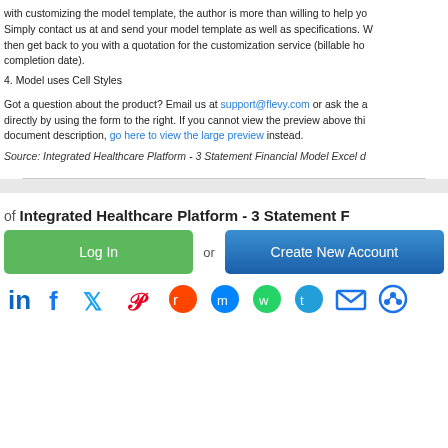with customizing the model template, the author is more than willing to help you. Simply contact us at and send your model template as well as specifications. We then get back to you with a quotation for the customization service (billable hours, completion date).
4. Model uses Cell Styles
Got a question about the product? Email us at support@flevy.com or ask the author directly by using the form to the right. If you cannot view the preview above this document description, go here to view the large preview instead.
Source: Integrated Healthcare Platform - 3 Statement Financial Model Excel d
of Integrated Healthcare Platform - 3 Statement F
Log In
or
Create New Account